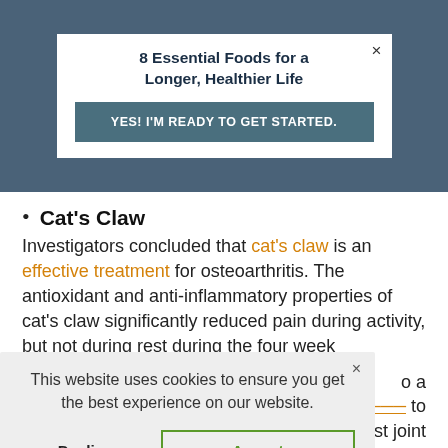[Figure (screenshot): Top popup banner with dark teal/blue background containing a white inner box with title '8 Essential Foods for a Longer, Healthier Life' and a teal CTA button 'YES! I'M READY TO GET STARTED.' with a close X button]
Cat's Claw
Investigators concluded that cat's claw is an effective treatment for osteoarthritis. The antioxidant and anti-inflammatory properties of cat's claw significantly reduced pain during activity, but not during rest during the four week
[Figure (screenshot): Cookie consent overlay on gray background with text 'This website uses cookies to ensure you get the best experience on our website.' and Decline / Accept buttons]
o a
to
be an effective intervention against joint